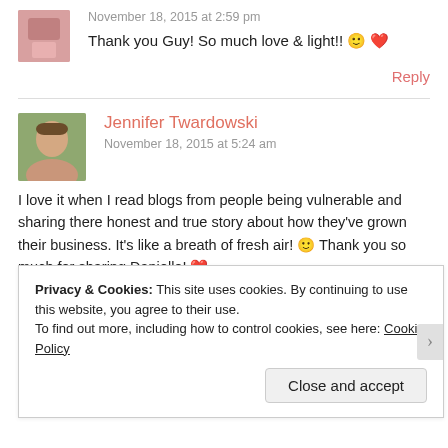November 18, 2015 at 2:59 pm
Thank you Guy! So much love & light!! 🙂 ❤
Reply
Jennifer Twardowski
November 18, 2015 at 5:24 am
I love it when I read blogs from people being vulnerable and sharing there honest and true story about how they've grown their business. It's like a breath of fresh air! 🙂 Thank you so much for sharing Danielle! ❤
Privacy & Cookies: This site uses cookies. By continuing to use this website, you agree to their use.
To find out more, including how to control cookies, see here: Cookie Policy
Close and accept